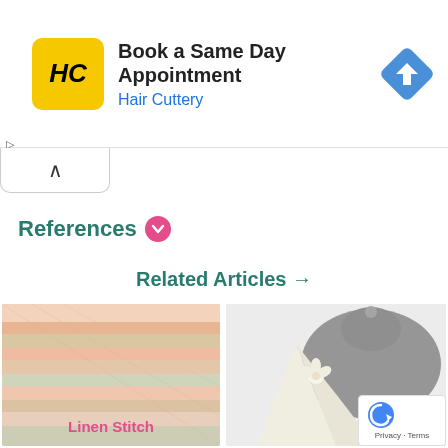[Figure (screenshot): Advertisement banner for Hair Cuttery with HC logo, text 'Book a Same Day Appointment', 'Hair Cuttery', and a blue navigation arrow icon]
[Figure (other): Collapse/chevron up button UI element]
References
Related Articles →
[Figure (photo): Photo of a colorful linen stitch knitted scarf with pink, green, and white stripes]
Linen Stitch
[Figure (photo): Photo of grey and cream knitted hats on a white surface]
[Figure (logo): Google reCAPTCHA logo badge with Privacy and Terms text]